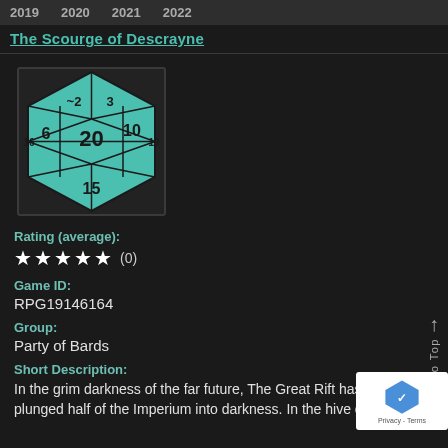2019  2020  2021  2022
The Scourge of Descrayne
[Figure (illustration): A d20 (twenty-sided die) icon in teal/cyan color on a black square background, showing faces labeled 2, 3, 6, 10, 16, 20, 19, 15]
Rating (average):
★★★★★ (0)
Game ID:
RPG19146164
Group:
Party of Bards
Short Description:
In the grim darkness of the far future, The Great Rift has plunged half of the Imperium into darkness. In the hive city of